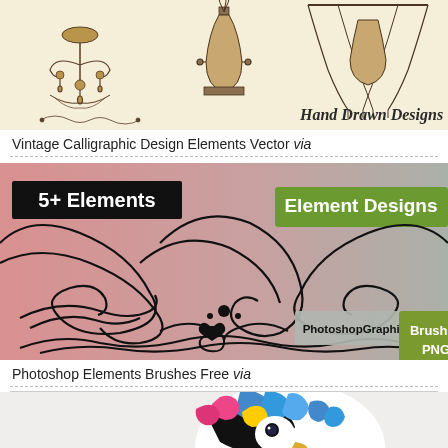[Figure (illustration): Vintage calligraphic hand drawn design elements on cream/beige background showing ornate chandelier and decorative vase/urn illustrations with text 'Hand Drawn Designs']
Vintage Calligraphic Design Elements Vector via
[Figure (illustration): Photoshop Elements Brushes showing decorative floral scroll/swirl elements on pink and grey gradient background with labels '5+ Elements', 'Element Designs', 'PhotoshopGraphics.com', 'Brushes PNG']
Photoshop Elements Brushes Free via
[Figure (illustration): Partial view of colorful bird illustration (parrot or macaw) with bright feathers on light background]